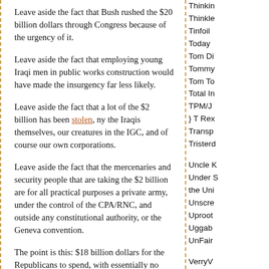Leave aside the fact that Bush rushed the $20 billion dollars through Congress because of the urgency of it.
Leave aside the fact that employing young Iraqi men in public works construction would have made the insurgency far less likely.
Leave aside the fact that a lot of the $2 billion has been stolen, ny the Iraqis themselves, our creatures in the IGC, and of course our own corporations.
Leave aside the fact that the mercenaries and security people that are taking the $2 billion are for all practical purposes a private army, under the control of the CPA/RNC, and outside any constitutional authority, or the Geneva convention.
The point is this: $18 billion dollars for the Republicans to spend, with essentially no Congressional oversight. Can anyone imagine
Thinking
Thinkle
Tinfoil
Today
Tom Di
Tommy
Tom To
Total In
TPM/J
} T Rex
Transp
Tristero
Uncle K
Under S
the Uni
Unscre
Uproot
Uggab
UnFair
VerryV
Village
Virtopia
Volcom
WA Sta
Wampu
Wayw